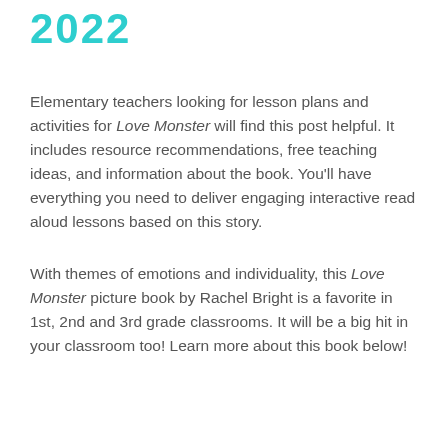2022
Elementary teachers looking for lesson plans and activities for Love Monster will find this post helpful. It includes resource recommendations, free teaching ideas, and information about the book. You'll have everything you need to deliver engaging interactive read aloud lessons based on this story.
With themes of emotions and individuality, this Love Monster picture book by Rachel Bright is a favorite in 1st, 2nd and 3rd grade classrooms. It will be a big hit in your classroom too! Learn more about this book below!